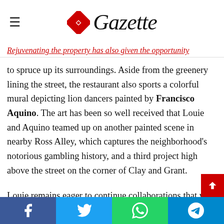Gazette
Rejuvenating the property has also given the opportunity to spruce up its surroundings. Aside from the greenery lining the street, the restaurant also sports a colorful mural depicting lion dancers painted by Francisco Aquino. The art has been so well received that Louie and Aquino teamed up on another painted scene in nearby Ross Alley, which captures the neighborhood's notorious gambling history, and a third project high above the street on the corner of Clay and Grant.
Louie remains eager to continue collaborations that will create a fresh face for Chinatown while still retaining its rich history.
“I’ve met so many new people and it’s a brainstorming session every time,” she says. “It’s really fun thinking how we can ta…